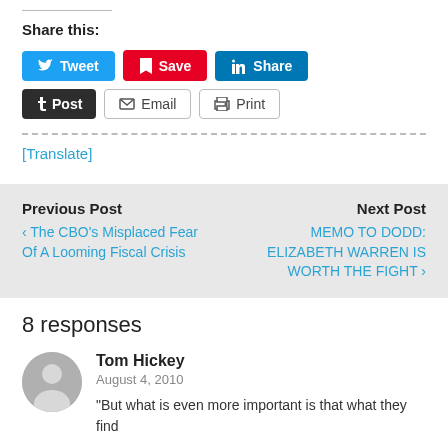Share this:
Tweet | Save | Share | Post | Email | Print
[Translate]
Previous Post
‹ The CBO's Misplaced Fear Of A Looming Fiscal Crisis
Next Post
MEMO TO DODD: ELIZABETH WARREN IS WORTH THE FIGHT ›
8 responses
Tom Hickey
August 4, 2010
"But what is even more important is that what they find